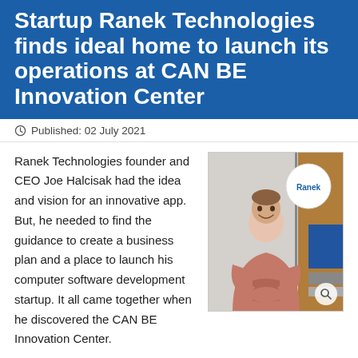Startup Ranek Technologies finds ideal home to launch its operations at CAN BE Innovation Center
Published: 02 July 2021
Ranek Technologies founder and CEO Joe Halcisak had the idea and vision for an innovative app. But, he needed to find the guidance to create a business plan and a place to launch his computer software development startup. It all came together when he discovered the CAN BE Innovation Center.
[Figure (photo): Photo of a young man in a pink hoodie smiling, standing in front of a Ranek logo sign on a door at the CAN BE Innovation Center.]
Halcisak formally founded Ranek Technologies in May of